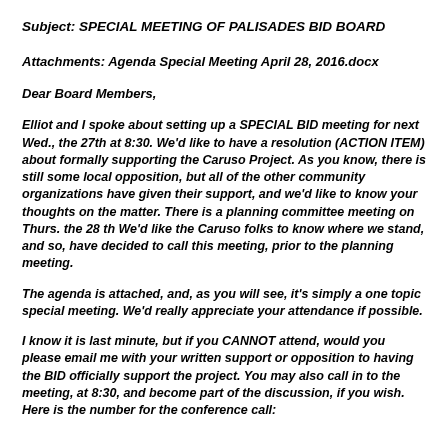Subject: SPECIAL MEETING OF PALISADES BID BOARD
Attachments: Agenda Special Meeting April 28, 2016.docx
Dear Board Members,
Elliot and I spoke about setting up a SPECIAL BID meeting for next Wed., the 27th at 8:30. We'd like to have a resolution (ACTION ITEM) about formally supporting the Caruso Project. As you know, there is still some local opposition, but all of the other community organizations have given their support, and we'd like to know your thoughts on the matter. There is a planning committee meeting on Thurs. the 28 th We'd like the Caruso folks to know where we stand, and so, have decided to call this meeting, prior to the planning meeting.
The agenda is attached, and, as you will see, it's simply a one topic special meeting. We'd really appreciate your attendance if possible.
I know it is last minute, but if you CANNOT attend, would you please email me with your written support or opposition to having the BID officially support the project. You may also call in to the meeting, at 8:30, and become part of the discussion, if you wish. Here is the number for the conference call: